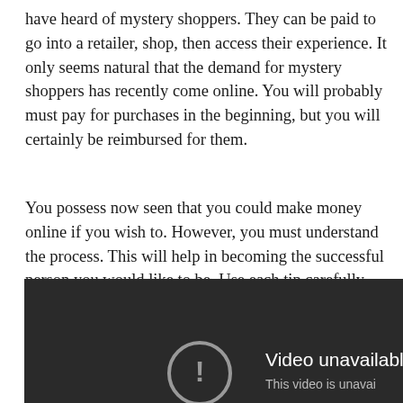have heard of mystery shoppers. They can be paid to go into a retailer, shop, then access their experience. It only seems natural that the demand for mystery shoppers has recently come online. You will probably must pay for purchases in the beginning, but you will certainly be reimbursed for them.
You possess now seen that you could make money online if you wish to. However, you must understand the process. This will help in becoming the successful person you would like to be. Use each tip carefully….
[Figure (screenshot): A YouTube-style video player showing an error state with a dark background, a circular exclamation mark icon, and the text 'Video unavailable' with 'This video is unavai...' below it.]